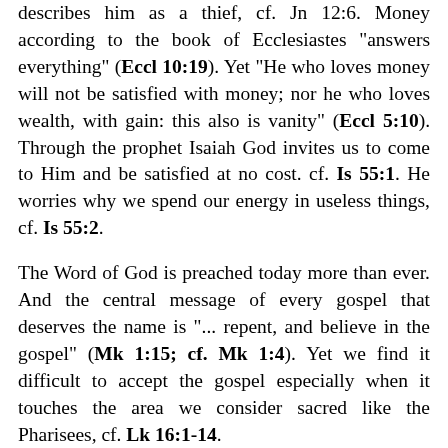describes him as a thief, cf. Jn 12:6. Money according to the book of Ecclesiastes "answers everything" (Eccl 10:19). Yet "He who loves money will not be satisfied with money; nor he who loves wealth, with gain: this also is vanity" (Eccl 5:10). Through the prophet Isaiah God invites us to come to Him and be satisfied at no cost. cf. Is 55:1. He worries why we spend our energy in useless things, cf. Is 55:2.
The Word of God is preached today more than ever. And the central message of every gospel that deserves the name is "... repent, and believe in the gospel" (Mk 1:15; cf. Mk 1:4). Yet we find it difficult to accept the gospel especially when it touches the area we consider sacred like the Pharisees, cf. Lk 16:1-14.
Hardening of the heart kills more than any other deadly disease. Judas among others suffered this. Dear friends, let us harden our hearts no longer but repent and believe the gospel (cf. Ps 95:8). The money Judas pursued to the extent of betraying Jesus was worthless for him, cf. Matt 27:3-5. What do you think you will gain from what